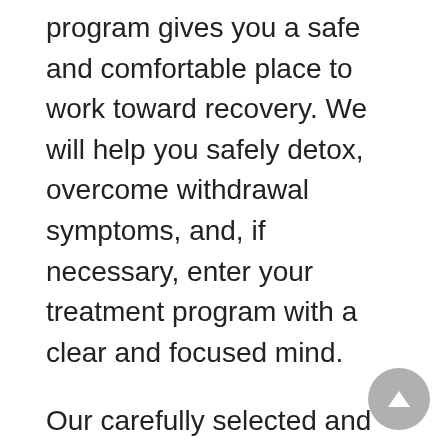program gives you a safe and comfortable place to work toward recovery. We will help you safely detox, overcome withdrawal symptoms, and, if necessary, enter your treatment program with a clear and focused mind.
Our carefully selected and professionally administered medications will be used if your withdrawal symptoms are severe enough. These will ease your symptoms and help us minimize potential complications.
When your desire to quit is not enough, we will give you everything else you need. This way, you can move forward with restored energy, focus,